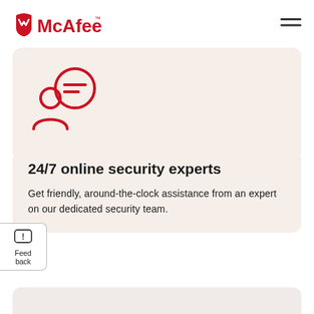McAfee™
[Figure (illustration): Icon of a person (user silhouette) with a speech/chat bubble overlay, drawn in red/crimson outline style]
24/7 online security experts
Get friendly, around-the-clock assistance from an expert on our dedicated security team.
[Figure (other): Feedback widget button with exclamation chat icon and label 'Feedback']